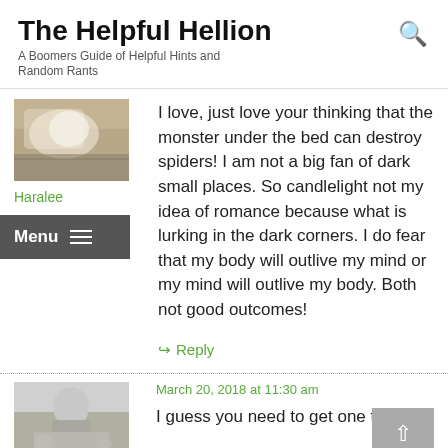The Helpful Hellion
A Boomers Guide of Helpful Hints and Random Rants
[Figure (photo): Avatar image of a white/grey cat on ground]
Haralee
Menu
I love, just love your thinking that the monster under the bed can destroy spiders! I am not a big fan of dark small places. So candlelight not my idea of romance because what is lurking in the dark corners. I do fear that my body will outlive my mind or my mind will outlive my body. Both not good outcomes!
Reply
March 20, 2018 at 11:30 am
[Figure (photo): Black and white photo of a person outdoors]
I guess you need to get one then